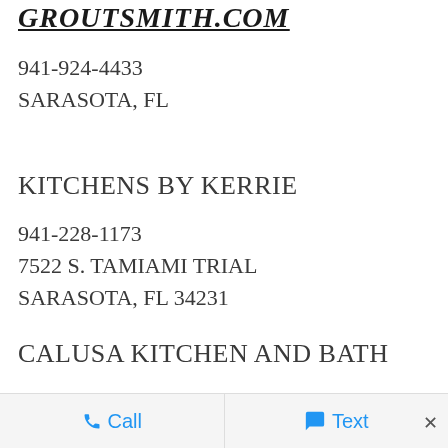GROUTSMITH.COM
941-924-4433
SARASOTA, FL
KITCHENS BY KERRIE
941-228-1173
7522 S. TAMIAMI TRIAL
SARASOTA, FL 34231
CALUSA KITCHEN AND BATH
OFFICE 941-432-6111
Call   Text   ×